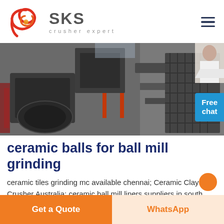[Figure (logo): SKS Crusher Expert logo with red swirl icon and grey SKS text]
[Figure (photo): Industrial crusher/ball mill machinery equipment photo]
ceramic balls for ball mill grinding
ceramic tiles grinding mc available chennai; Ceramic Clay Crusher Australia; ceramic ball mill liners suppliers in south africa; prices of mobile jaw crusher in uae;.